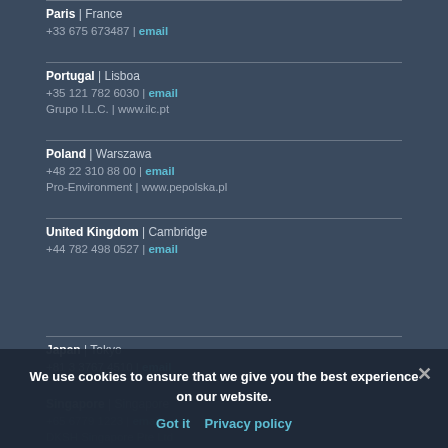Paris | France
+33 675 673487 | email
Portugal | Lisboa
+35 121 782 6030 | email
Grupo I.L.C. | www.ilc.pt
Poland | Warszawa
+48 22 310 88 00 | email
Pro-Environment | www.pepolska.pl
United Kingdom | Cambridge
+44 782 498 0527 | email
Japan | Tokyo
+81 3 3767 4510 | email
Singapore | Singapore
+65 6779 1223 | email
DKSH Singapore Pte Ltd
We use cookies to ensure that we give you the best experience on our website.
Got it   Privacy policy